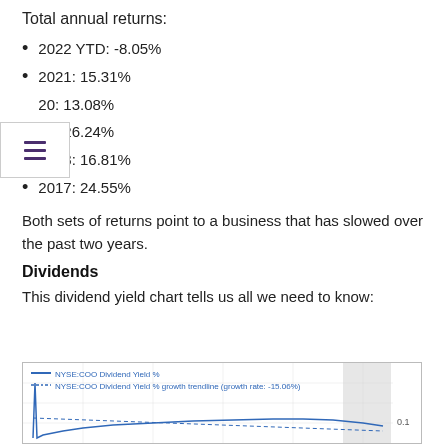Total annual returns:
2022 YTD: -8.05%
2021: 15.31%
2020: 13.08%
2019: 26.24%
2018: 16.81%
2017: 24.55%
Both sets of returns point to a business that has slowed over the past two years.
Dividends
This dividend yield chart tells us all we need to know:
[Figure (line-chart): Line chart showing NYSE:COO Dividend Yield % and its growth trendline (growth rate: -15.06%). Y-axis shows value around 0.1.]